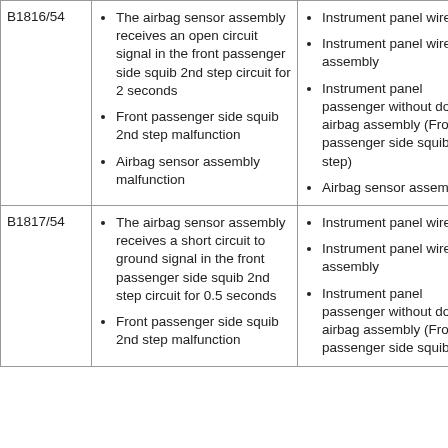| Code | Conditions | Suspect Areas |
| --- | --- | --- |
| B1816/54 | • The airbag sensor assembly receives an open circuit signal in the front passenger side squib 2nd step circuit for 2 seconds
• Front passenger side squib 2nd step malfunction
• Airbag sensor assembly malfunction | • Instrument panel wire
• Instrument panel wire assembly
• Instrument panel passenger without door airbag assembly (Front passenger side squib 2nd step)
• Airbag sensor assembly |
| B1817/54 | • The airbag sensor assembly receives a short circuit to ground signal in the front passenger side squib 2nd step circuit for 0.5 seconds
• Front passenger side squib 2nd step malfunction | • Instrument panel wire
• Instrument panel wire assembly
• Instrument panel passenger without door airbag assembly (Front passenger side squib |